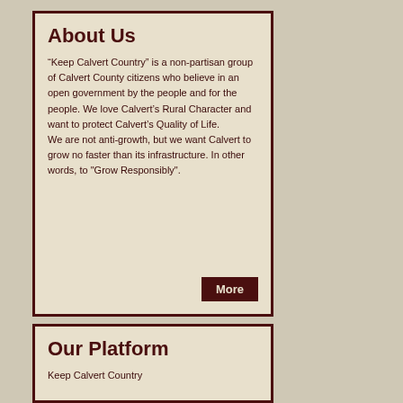About Us
“Keep Calvert Country” is a non-partisan group of Calvert County citizens who believe in an open government by the people and for the people. We love Calvert’s Rural Character and want to protect Calvert’s Quality of Life. We are not anti-growth, but we want Calvert to grow no faster than its infrastructure. In other words, to "Grow Responsibly".
Our Platform
Keep Calvert Country